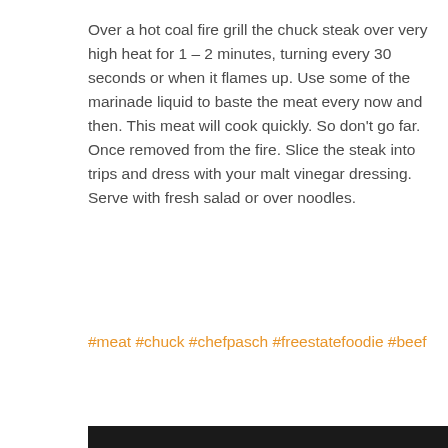Over a hot coal fire grill the chuck steak over very high heat for 1 – 2 minutes, turning every 30 seconds or when it flames up. Use some of the marinade liquid to baste the meat every now and then. This meat will cook quickly. So don't go far. Once removed from the fire. Slice the steak into trips and dress with your malt vinegar dressing. Serve with fresh salad or over noodles.
#meat #chuck #chefpasch #freestatefoodie #beef